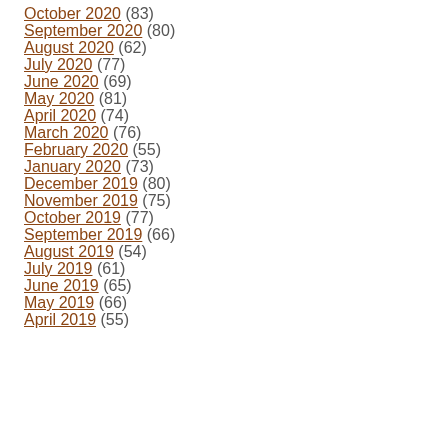October 2020 (83)
September 2020 (80)
August 2020 (62)
July 2020 (77)
June 2020 (69)
May 2020 (81)
April 2020 (74)
March 2020 (76)
February 2020 (55)
January 2020 (73)
December 2019 (80)
November 2019 (75)
October 2019 (77)
September 2019 (66)
August 2019 (54)
July 2019 (61)
June 2019 (65)
May 2019 (66)
April 2019 (55)